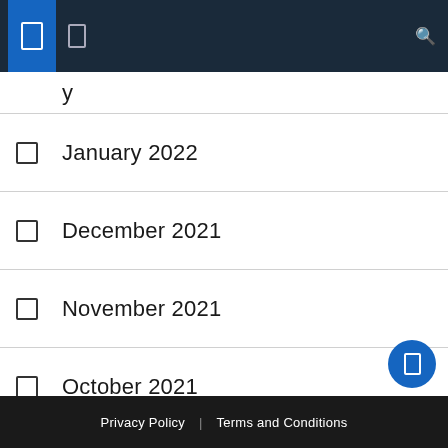Navigation header with icons
January 2022
December 2021
November 2021
October 2021
May 2021
October 2020
April 2019
Privacy Policy | Terms and Conditions